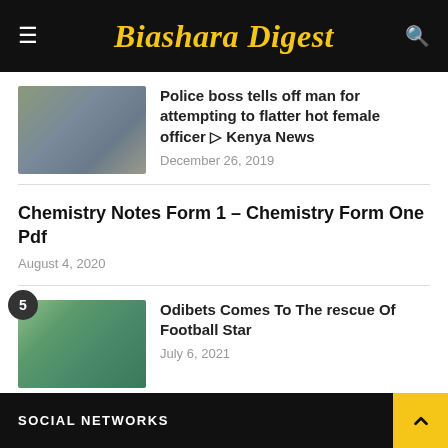Biashara Digest
Police boss tells off man for attempting to flatter hot female officer ▷ Kenya News
December 26, 2019
Chemistry Notes Form 1 – Chemistry Form One Pdf
August 4, 2020
Odibets Comes To The rescue Of Football Star
July 6, 2021
SOCIAL NETWORKS